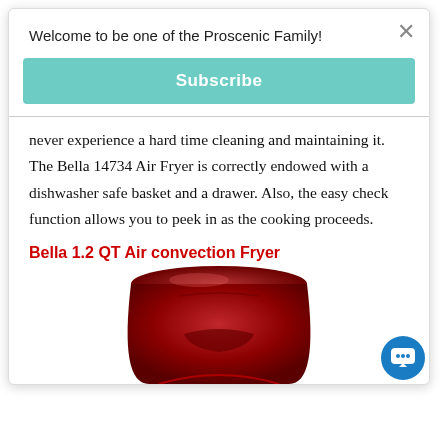Welcome to be one of the Proscenic Family!
Subscribe
never experience a hard time cleaning and maintaining it. The Bella 14734 Air Fryer is correctly endowed with a dishwasher safe basket and a drawer. Also, the easy check function allows you to peek in as the cooking proceeds.
Bella 1.2 QT Air convection Fryer
[Figure (photo): Red Bella 1.2 QT Air Convection Fryer appliance, showing the top and front of the red-colored device with handle detail]